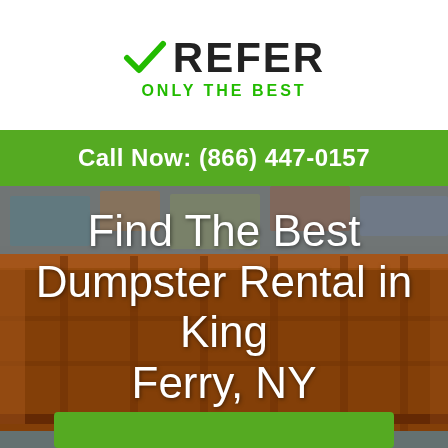[Figure (logo): XRefer logo with green checkmark and tagline ONLY THE BEST]
Call Now: (866) 447-0157
[Figure (photo): Large orange metal dumpster against a graffiti wall background]
Find The Best Dumpster Rental in King Ferry, NY